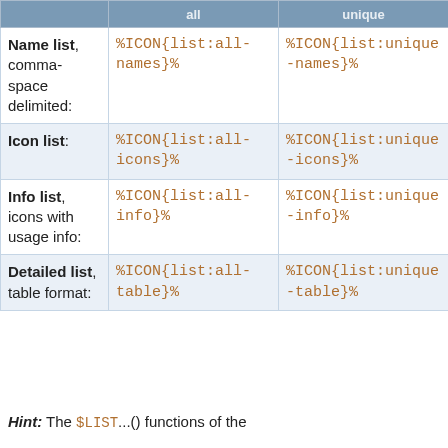|  | all | unique |
| --- | --- | --- |
| Name list, comma-space delimited: | %ICON{list:all-names}% | %ICON{list:unique-names}% |
| Icon list: | %ICON{list:all-icons}% | %ICON{list:unique-icons}% |
| Info list, icons with usage info: | %ICON{list:all-info}% | %ICON{list:unique-info}% |
| Detailed list, table format: | %ICON{list:all-table}% | %ICON{list:unique-table}% |
Hint: The $LIST...() functions of the